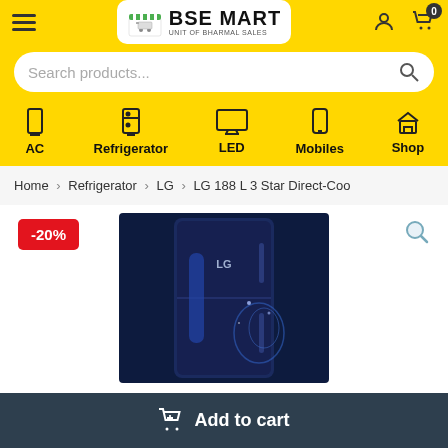[Figure (screenshot): BSE MART logo with shopping bag icon, store name and tagline 'UNIT OF BHARMAL SALES']
Search products...
AC   Refrigerator   LED   Mobiles   Shop
Home > Refrigerator > LG > LG 188 L 3 Star Direct-Coo
-20%
[Figure (photo): LG single-door refrigerator in dark blue color with LG branding, product photo on dark background]
Add to cart